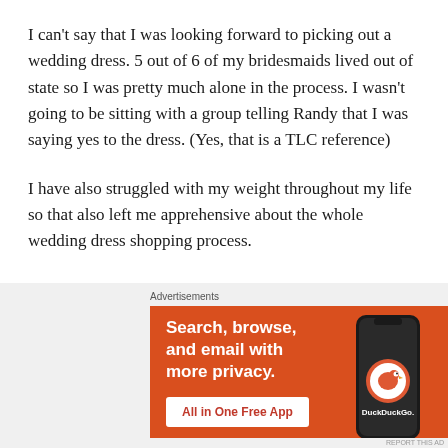I can't say that I was looking forward to picking out a wedding dress.  5 out of 6 of my bridesmaids lived out of state so I was pretty much alone in the process.  I wasn't going to be sitting with a group telling Randy that I was saying yes to the dress. (Yes, that is a TLC reference)
I have also struggled with my weight throughout my life so that also left me apprehensive about the whole wedding dress shopping process.
[Figure (screenshot): DuckDuckGo advertisement banner with orange background. Text reads 'Search, browse, and email with more privacy. All in One Free App' with DuckDuckGo logo and a phone mockup on the right side.]